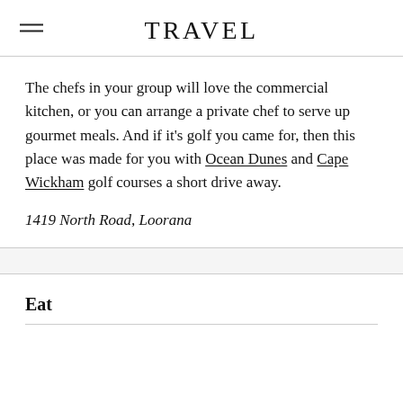TRAVEL
The chefs in your group will love the commercial kitchen, or you can arrange a private chef to serve up gourmet meals. And if it's golf you came for, then this place was made for you with Ocean Dunes and Cape Wickham golf courses a short drive away.
1419 North Road, Loorana
Eat